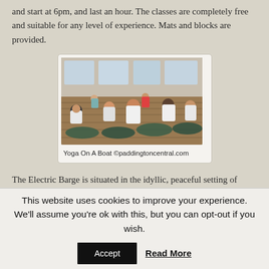and start at 6pm, and last an hour. The classes are completely free and suitable for any level of experience. Mats and blocks are provided.
[Figure (photo): People practicing yoga on a boat/barge, seated on mats facing away from camera in a wooden interior space with windows]
Yoga On A Boat ©paddingtoncentral.com
The Electric Barge is situated in the idyllic, peaceful setting of Little Venice, the perfect surroundings for calming your soul, focusing on deep breathing and maintaining all of those complicated poses. As you can imagine, the
This website uses cookies to improve your experience. We'll assume you're ok with this, but you can opt-out if you wish.